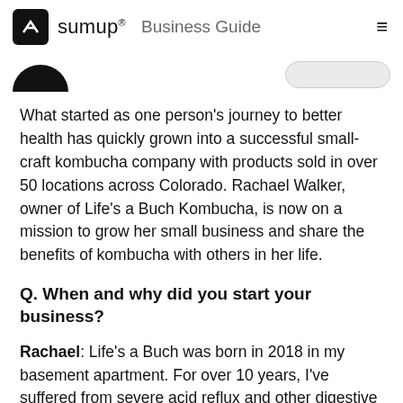sumup® Business Guide
[Figure (photo): Partial image showing a dark hat shape at bottom left and a rounded card shape at top right, cropped at page top]
What started as one person's journey to better health has quickly grown into a successful small-craft kombucha company with products sold in over 50 locations across Colorado. Rachael Walker, owner of Life's a Buch Kombucha, is now on a mission to grow her small business and share the benefits of kombucha with others in her life.
Q. When and why did you start your business?
Rachael: Life's a Buch was born in 2018 in my basement apartment. For over 10 years, I've suffered from severe acid reflux and other digestive issues. It was when I started drinking kombucha every day that I saw a drastic change in how my stomach and body felt. Since I've